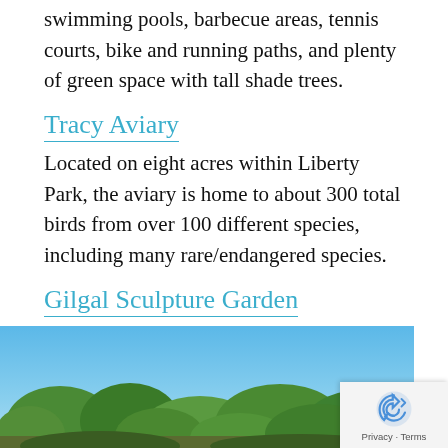swimming pools, barbecue areas, tennis courts, bike and running paths, and plenty of green space with tall shade trees.
Tracy Aviary
Located on eight acres within Liberty Park, the aviary is home to about 300 total birds from over 100 different species, including many rare/endangered species.
Gilgal Sculpture Garden
A small but unique collection of sculptures and stone engravings hidden between buildings in the center of a city block. Free.
[Figure (photo): Outdoor park scene with blue sky and trees in the background]